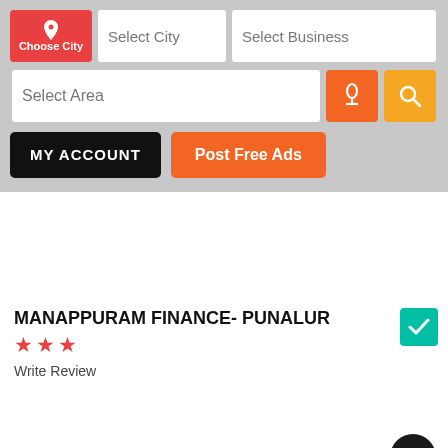[Figure (screenshot): App navigation header with Choose City button, Select City input, Select Business input, Select Area input, microphone button, search button, MY ACCOUNT button, Post Free Ads button]
MANAPPURAM FINANCE- PUNALUR
★★★
Write Review
. III/193, 1st Floor, M.J Arcade, Post Office Junction,
Post Free Ads